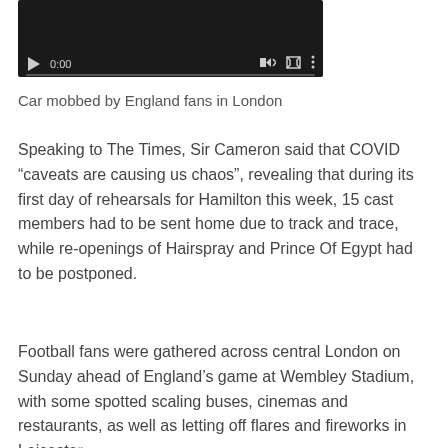[Figure (screenshot): Video player with black background showing controls: play button, time display 0:00, volume icon, fullscreen icon, and more options icon, with a progress bar at the bottom]
Car mobbed by England fans in London
Speaking to The Times, Sir Cameron said that COVID “caveats are causing us chaos”, revealing that during its first day of rehearsals for Hamilton this week, 15 cast members had to be sent home due to track and trace, while re-openings of Hairspray and Prince Of Egypt had to be postponed.
Football fans were gathered across central London on Sunday ahead of England’s game at Wembley Stadium, with some spotted scaling buses, cinemas and restaurants, as well as letting off flares and fireworks in Leicester